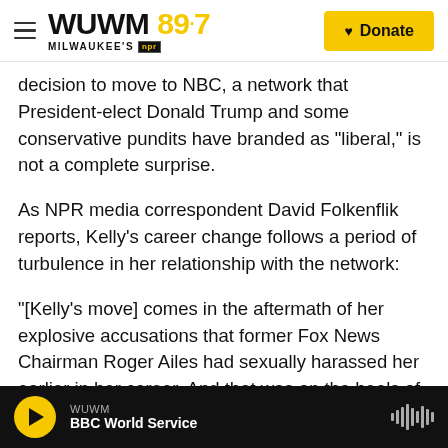WUWM 89.7 Milwaukee's NPR — Donate
decision to move to NBC, a network that President-elect Donald Trump and some conservative pundits have branded as "liberal," is not a complete surprise.
As NPR media correspondent David Folkenflik reports, Kelly's career change follows a period of turbulence in her relationship with the network:
"[Kelly's move] comes in the aftermath of her explosive accusations that former Fox News Chairman Roger Ailes had sexually harassed her earlier in her career. And that was on the heels of
WUWM — BBC World Service